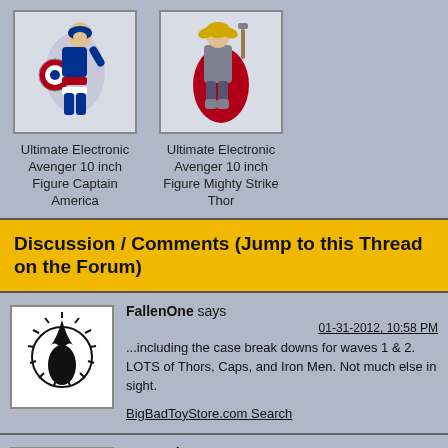[Figure (photo): Captain America action figure toy]
Ultimate Electronic Avenger 10 inch Figure Captain America
[Figure (photo): Thor action figure toy]
Ultimate Electronic Avenger 10 inch Figure Mighty Strike Thor
Discussion / Comments (Jump to this Thread on the Forum)
[Figure (illustration): Forum user avatar: black flame with sun/spikes design]
FallenOne says
01-31-2012, 10:58 PM
...including the case break downs for waves 1 & 2. LOTS of Thors, Caps, and Iron Men. Not much else in sight.
BigBadToyStore.com Search
[Figure (photo): Forum user avatar: Teenage Mutant Ninja Turtles characters]
Ravenxl7 says
01-31-2012, 11:54 PM
While I'm glad to see that there is a Hawkeye bow coming along amongst the role-play items,